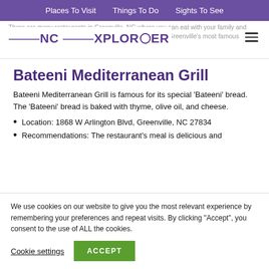Places To Visit   Things To Do   Sights To See
ENC EXPLORER
There are many restaurants in Greenville, NC where you can eat with your family and friends. Bateeni Mediterranean Grill, Yaba... are some of Greenville's most famous restaurants.
Bateeni Mediterranean Grill
Bateeni Mediterranean Grill is famous for its special 'Bateeni' bread. The 'Bateeni' bread is baked with thyme, olive oil, and cheese.
Location: 1868 W Arlington Blvd, Greenville, NC 27834
Recommendations: The restaurant's meal is delicious and...
We use cookies on our website to give you the most relevant experience by remembering your preferences and repeat visits. By clicking "Accept", you consent to the use of ALL the cookies.
Cookie settings   ACCEPT